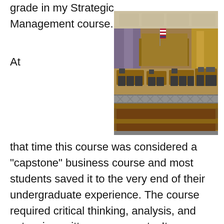grade in my Strategic Management course.
At
[Figure (photo): Interior of an empty courtroom showing wooden benches, jury box, judge's bench, and counsel tables with chairs. An American flag is visible near the judge's bench. Computer monitors are on some desks. The room has wood paneling and decorative metal railings.]
that time this course was considered a “capstone” business course and most students saved it to the very end of their undergraduate experience. The course required critical thinking, analysis, and extensive written case reports. It was taught as a “hybrid” course — half in a